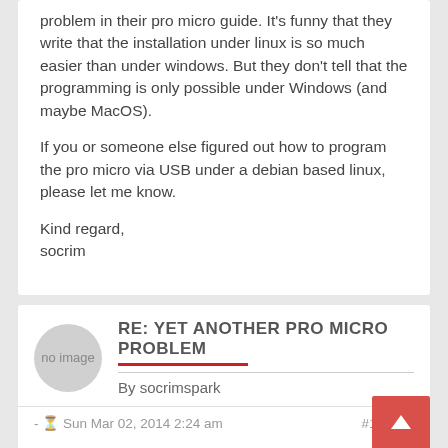problem in their pro micro guide. It's funny that they write that the installation under linux is so much easier than under windows. But they don't tell that the programming is only possible under Windows (and maybe MacOS).
If you or someone else figured out how to program the pro micro via USB under a debian based linux, please let me know.
Kind regard,
socrim
RE: YET ANOTHER PRO MICRO PROBLEM
By socrimspark
- Sun Mar 02, 2014 2:24 am    #169007
Hi,
in my case the modem-manager tried to talk to my pro micro after every reset, what confused avrdude to death